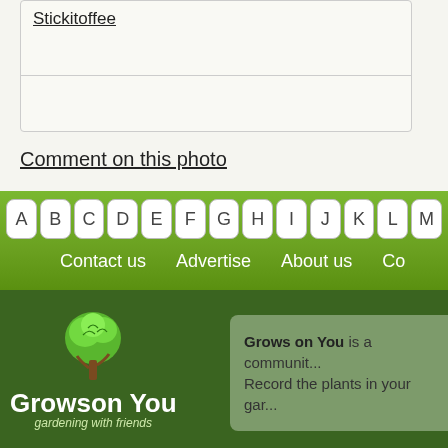Stickitoffee
Comment on this photo
A B C D E F G H I J K L M
Contact us   Advertise   About us   Co...
[Figure (logo): Grows on You logo with green tree illustration and text 'Grows on You - gardening with friends']
Grows on You is a communit... Record the plants in your gar...